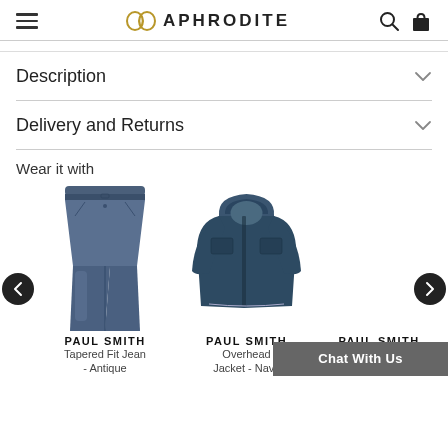APHRODITE
Description
Delivery and Returns
Wear it with
[Figure (photo): Paul Smith Tapered Fit Jean - Antique product image]
PAUL SMITH
Tapered Fit Jean - Antique
[Figure (photo): Paul Smith Overhead Jacket - Navy product image]
PAUL SMITH
Overhead Jacket - Navy
PAUL SMITH
Neon Cow Lea...